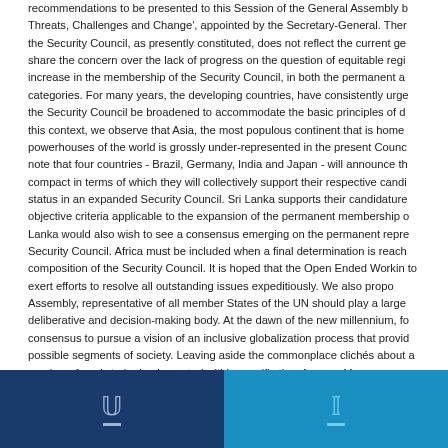recommendations to be presented to this Session of the General Assembly b Threats, Challenges and Change', appointed by the Secretary-General. Ther the Security Council, as presently constituted, does not reflect the current ge share the concern over the lack of progress on the question of equitable regi increase in the membership of the Security Council, in both the permanent a categories. For many years, the developing countries, have consistently urge the Security Council be broadened to accommodate the basic principles of d this context, we observe that Asia, the most populous continent that is home powerhouses of the world is grossly under-represented in the present Counc note that four countries - Brazil, Germany, India and Japan - will announce th compact in terms of which they will collectively support their respective candi status in an expanded Security Council. Sri Lanka supports their candidature objective criteria applicable to the expansion of the permanent membership o Lanka would also wish to see a consensus emerging on the permanent repre Security Council. Africa must be included when a final determination is reach composition of the Security Council. It is hoped that the Open Ended Workin to exert efforts to resolve all outstanding issues expeditiously. We also propo Assembly, representative of all member States of the UN should play a large deliberative and decision-making body. At the dawn of the new millennium, fo consensus to pursue a vision of an inclusive globalization process that provid possible segments of society. Leaving aside the commonplace clichés about a number of goals to be implemented within specific time frames. My govern development programmes were planned and put into action ten years ago. W necessary changes to align our plans more closely with the UN's Millennium Sri Lankan Government's strategy for development seeks a constructive part and accountable private sector, including foreign investment, and a robust ar The major thrust of our vision is to eliminate poverty, reduce inequalities, and